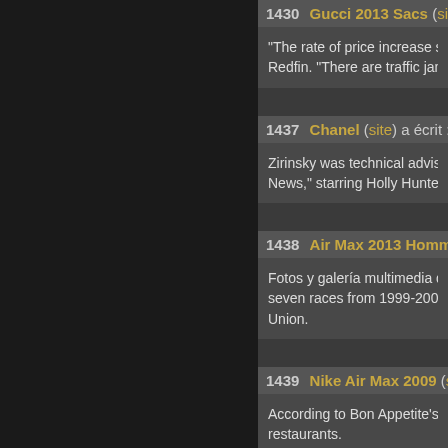1430 Gucci 2013 Sacs (site) a éc...
"The rate of price increase seems u... Redfin. "There are traffic jams outs...
1437 Chanel (site) a écrit :
Zirinsky was technical advisor/asso... News," starring Holly Hunter as a W...
1438 Air Max 2013 Homme (site) a...
Fotos y galería multimedia disponib... seven races from 1999-2005 if La... Union.
1439 Nike Air Max 2009 (site) a éc...
According to Bon Appetite's restau... restaurants.
1440 Nike Free 3.0 V4 Mens (site)
Inscripción para residentes de Cali...